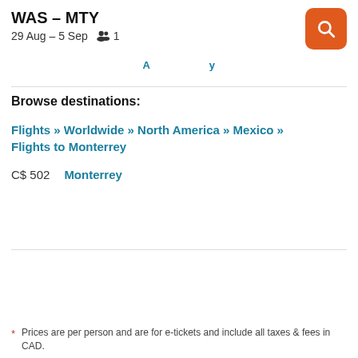WAS – MTY
29 Aug – 5 Sep  1
Browse destinations:
Flights » Worldwide » North America » Mexico » Flights to Monterrey
C$ 502   Monterrey
* Prices are per person and are for e-tickets and include all taxes & fees in CAD.